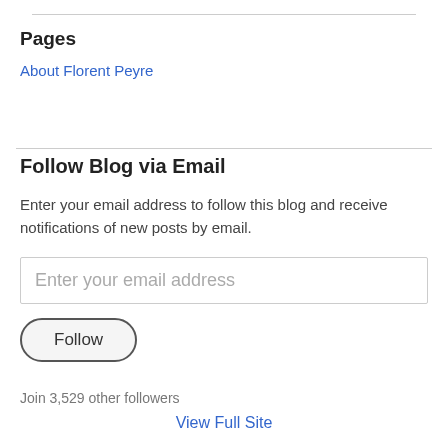Pages
About Florent Peyre
Follow Blog via Email
Enter your email address to follow this blog and receive notifications of new posts by email.
Enter your email address
Follow
Join 3,529 other followers
View Full Site